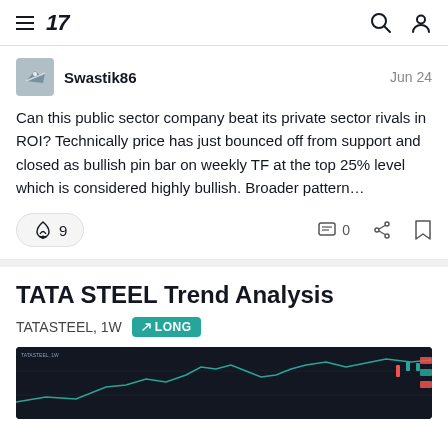TradingView navigation bar with hamburger menu, logo '17', search icon, and user icon
Swastik86   Jun 24
Can this public sector company beat its private sector rivals in ROI? Technically price has just bounced off from support and closed as bullish pin bar on weekly TF at the top 25% level which is considered highly bullish. Broader pattern…
🚀 9   0   share   bookmark
TATA STEEL Trend Analysis
TATASTEEL, 1W  ↗ LONG
[Figure (screenshot): Dark-themed TradingView chart showing TATASTEEL weekly price action with candlestick chart on dark background]